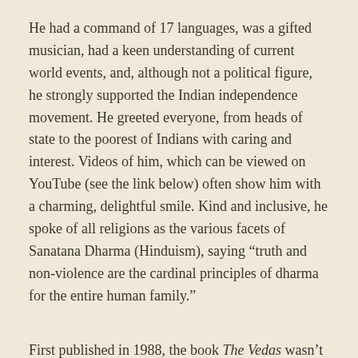He had a command of 17 languages, was a gifted musician, had a keen understanding of current world events, and, although not a political figure, he strongly supported the Indian independence movement. He greeted everyone, from heads of state to the poorest of Indians with caring and interest. Videos of him, which can be viewed on YouTube (see the link below) often show him with a charming, delightful smile. Kind and inclusive, he spoke of all religions as the various facets of Sanatana Dharma (Hinduism), saying “truth and non-violence are the cardinal principles of dharma for the entire human family.”
First published in 1988, the book The Vedas wasn’t written directly by Sri Chandrasekharendra Saraswathi, but is a compilation of the words he spoke on numerous occasions, written down by his disciples.
At the end of the book is a chart that folds out. It lists hundreds